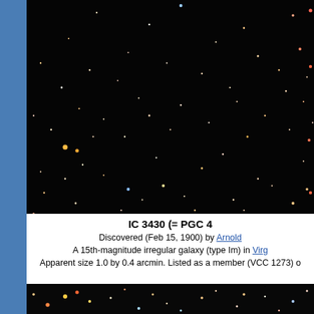[Figure (photo): Deep sky astronomical image showing a star field with numerous stars of varying colors (white, blue, orange, red, yellow) against a black background. Part of a larger image of the IC 3430 galaxy region.]
IC 3430 (= PGC 4…
Discovered (Feb 15, 1900) by Arnold…
A 15th-magnitude irregular galaxy (type Im) in Virg…
Apparent size 1.0 by 0.4 arcmin. Listed as a member (VCC 1273) o…
[Figure (photo): Bottom portion of deep sky astronomical image showing another section of the star field around IC 3430, with colorful stars against black background.]